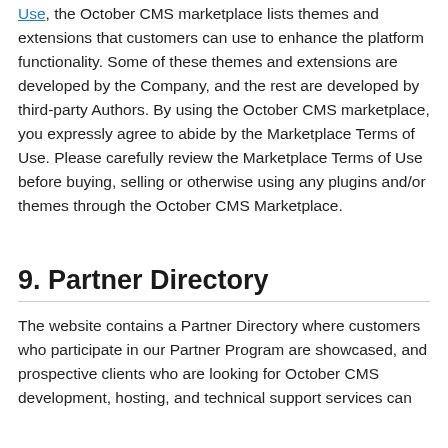Use, the October CMS marketplace lists themes and extensions that customers can use to enhance the platform functionality. Some of these themes and extensions are developed by the Company, and the rest are developed by third-party Authors. By using the October CMS marketplace, you expressly agree to abide by the Marketplace Terms of Use. Please carefully review the Marketplace Terms of Use before buying, selling or otherwise using any plugins and/or themes through the October CMS Marketplace.
9. Partner Directory
The website contains a Partner Directory where customers who participate in our Partner Program are showcased, and prospective clients who are looking for October CMS development, hosting, and technical support services can